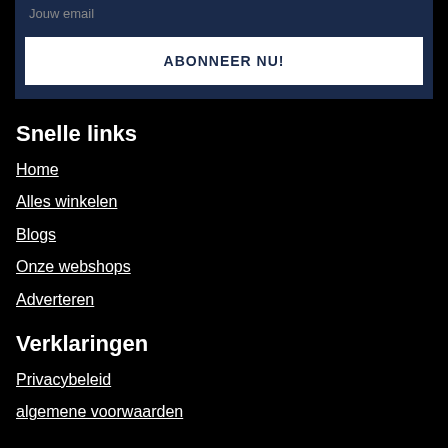Jouw email
ABONNEER NU!
Snelle links
Home
Alles winkelen
Blogs
Onze webshops
Adverteren
Verklaringen
Privacybeleid
algemene voorwaarden